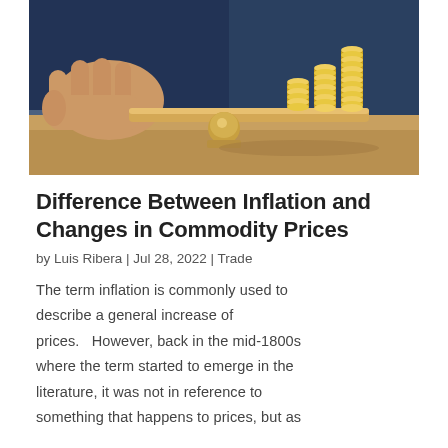[Figure (photo): A hand holding a wooden balance scale with stacks of gold coins on the right side, suggesting the concept of weighing value or price changes, with a wooden fulcrum in the center.]
Difference Between Inflation and Changes in Commodity Prices
by Luis Ribera | Jul 28, 2022 | Trade
The term inflation is commonly used to describe a general increase of prices.  However, back in the mid-1800s where the term started to emerge in the literature, it was not in reference to something that happens to prices, but as